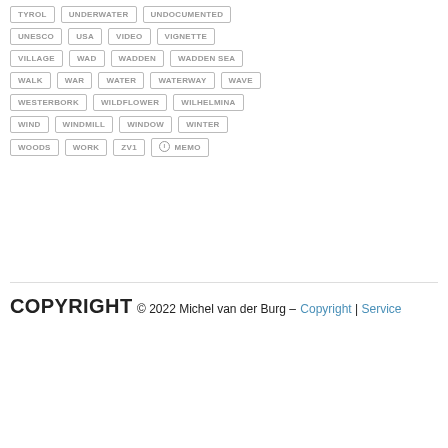TYROL
UNDERWATER
UNDOCUMENTED
UNESCO
USA
VIDEO
VIGNETTE
VILLAGE
WAD
WADDEN
WADDEN SEA
WALK
WAR
WATER
WATERWAY
WAVE
WESTERBORK
WILDFLOWER
WILHELMINA
WIND
WINDMILL
WINDOW
WINTER
WOODS
WORK
ZV1
① MEMO
COPYRIGHT
© 2022 Michel van der Burg –
Copyright | Service